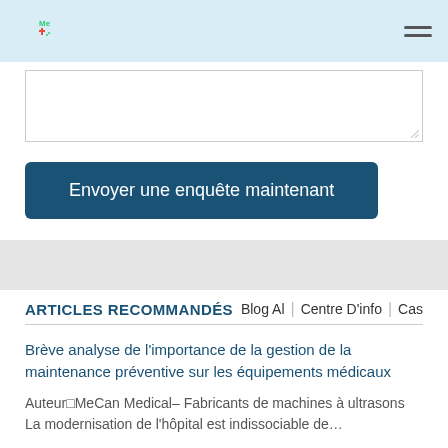[Figure (logo): MeCan Medical logo: blue crescent with 'Me' text and red cross symbol]
Envoyer une enquête maintenant
ARTICLES RECOMMANDÉS
Blog Al | Centre D'info | Cas
Brève analyse de l'importance de la gestion de la maintenance préventive sur les équipements médicaux
Auteur□MeCan Medical– Fabricants de machines à ultrasons La modernisation de l'hôpital est indissociable de…